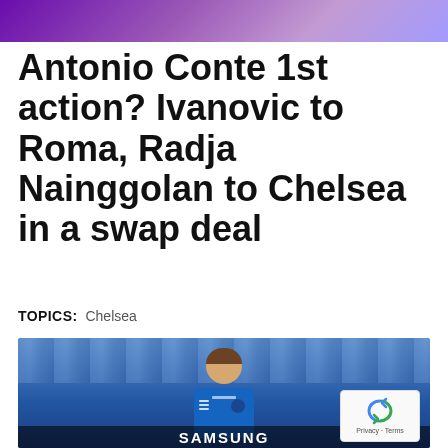[Figure (other): Purple gradient banner/advertisement at top of page]
Antonio Conte 1st action? Ivanovic to Roma, Radja Nainggolan to Chelsea in a swap deal
TOPICS:   Chelsea
[Figure (photo): Photo of a footballer wearing a Chelsea blue Samsung jersey, with a crowd in the background. A reCAPTCHA badge and Privacy - Terms text appear in the bottom right corner.]